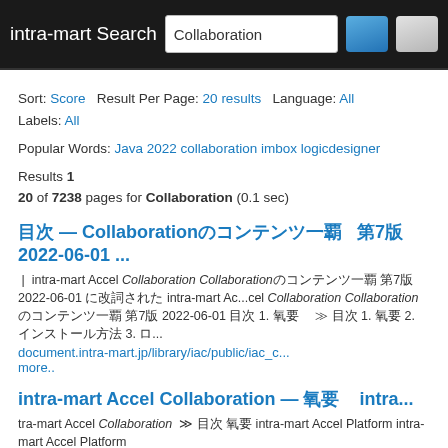intra-mart Search — search box: Collaboration
Sort: Score   Result Per Page: 20 results   Language: All
Labels: All
Popular Words: Java 2022 collaboration imbox logicdesigner
Results 1
20 of 7238 pages for Collaboration (0.1 sec)
目次 — Collaborationの コンテンツ一覧 　第7版 2022-06-01 ...
| intra-mart Accel Collaboration Collaborationの コンテンツ一覧 第7版 2022-06-01 に掲載された intra-mart Ac...cel Collaboration Collaborationの コンテンツ一覧 第7版 2022-06-01 目次 1. 概要　 ≫ 目次 1. 概要 2. インストール方法 3. ロ... document.intra-mart.jp/library/iac/public/iac_c... more..
intra-mart Accel Collaboration — 概要　　intra...
tra-mart Accel Collaboration ≫ 目次 概要 intra-mart Accel Platform intra-mart Accel Collaboration intra-mart Ac...cel Collaboration e